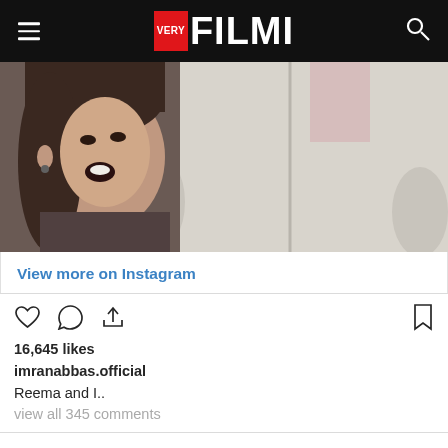VERY FILMI
[Figure (photo): Two people, a woman on the left with dark hair looking at camera with mouth open, and a taller person on the right wearing a light/beige hoodie jacket, pink visible underneath]
View more on Instagram
16,645 likes
imranabbas.official
Reema and I..
view all 345 comments
Add a comment...